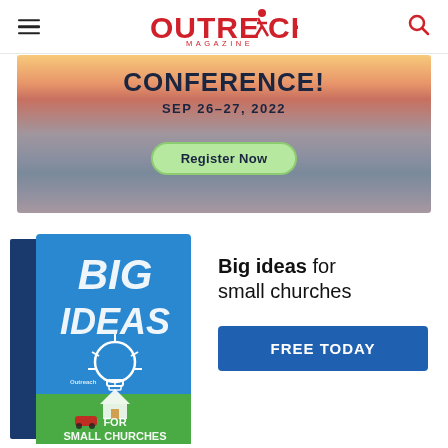Outreach Magazine
[Figure (illustration): Conference advertisement banner with sunset/landscape background showing text 'CONFERENCE!' and 'SEP 26–27, 2022' with a 'Register Now' button.]
[Figure (illustration): Book cover for 'Big Ideas for Small Churches' by Outreach, showing a lightbulb illustration and small church/house scene on green grass.]
Big ideas for small churches
FREE TODAY